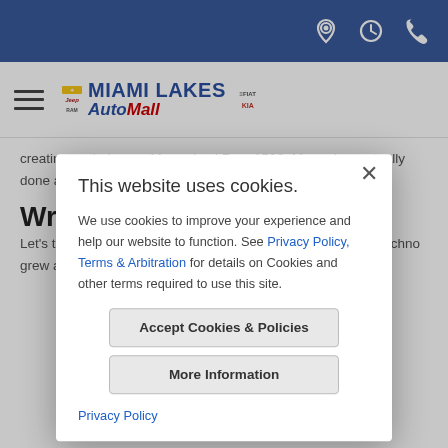Miami Lakes AutoMall website header with location, hours, and phone icons
[Figure (logo): Miami Lakes AutoMall logo with Chevrolet, Jeep, Ram, Kia brand icons]
creating a whole new Mopar-ized Ram 1500, Mopar has actually done a pure accessory route, opening a whole new catalog
Wra
Let's ta ... hit its 80 Yea ... place throug ... produ ... combi ... and techno ... grew and ex ... ar
This website uses cookies.

We use cookies to improve your experience and help our website to function. See Privacy Policy, Terms & Arbitration for details on Cookies and other terms required to use this site.

Accept Cookies & Policies
More Information

Privacy Policy